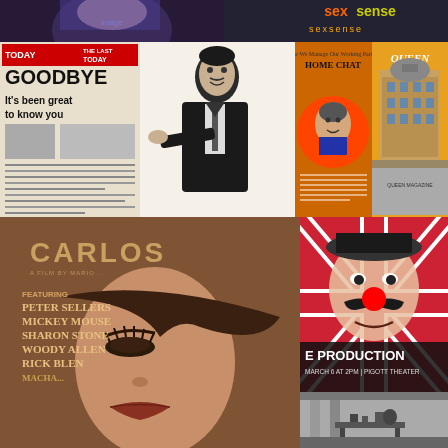[Figure (photo): Top strip: partially visible image on left showing a figure with blue-tinted hair, and on right a colorful 'sexsense' text/logo image]
[Figure (photo): Newspaper front page: TODAY - THE LAST TODAY - GOODBYE It's been great to know you]
[Figure (illustration): Black and white illustration of a man in a suit pointing a finger]
[Figure (photo): HOME CHAT magazine cover with woman portrait on orange circle]
[Figure (photo): Queen magazine cover showing a building/hotel]
[Figure (illustration): CARLOS movie poster featuring illustrated woman's face, listing PETER SELLERS, MICKEY MOUSE, SHARON STONE, WOODY ALLEN, RICK BLEN, MACHA...]
[Figure (photo): Theater production poster with Union Jack background and man with red clown nose: E PRODUCTION, MARCH 6 AT 2PM | PIGOTT THEATER]
[Figure (photo): Black and white photo of an interior room with furniture and decorative items]